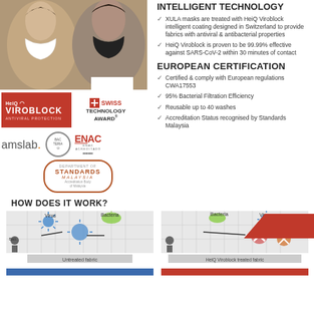[Figure (photo): Two people wearing XULA face masks — a woman with white mask on left, man with black mask on right, facing each other in profile]
[Figure (logo): HeiQ Viroblock Antiviral Protection logo (red background)]
[Figure (logo): Swiss Technology Award logo with Swiss flag icon]
[Figure (logo): amslab. logo]
[Figure (logo): BacTeria accreditation logo (circular)]
[Figure (logo): ENAC accreditation logo]
[Figure (logo): Standards Malaysia oval logo]
INTELLIGENT TECHNOLOGY
XULA masks are treated with HeiQ Viroblock intelligent coating designed in Switzerland to provide fabrics with antiviral & antibacterial properties
HeiQ Viroblock is proven to be 99.99% effective against SARS-CoV-2 within 30 minutes of contact
EUROPEAN CERTIFICATION
Certified & comply with European regulations CWA17553
95% Bacterial Filtration Efficiency
Reusable up to 40 washes
Accreditation Status recognised by Standards Malaysia
HOW DOES IT WORK?
[Figure (infographic): Diagram showing untreated fabric with virus and bacteria passing through]
[Figure (infographic): Diagram showing HeiQ Viroblock treated fabric blocking virus and bacteria]